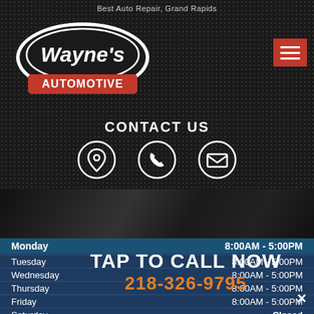Best Auto Repair, Grand Rapids
[Figure (logo): Wayne's Automotive logo — white script 'Wayne's' text in an oval with blue and red 'AUTOMOTIVE' banner below]
[Figure (illustration): Red hamburger menu button with three white horizontal lines]
CONTACT US
[Figure (infographic): Three white circular icons: map pin/location, telephone handset, and envelope/email]
[Figure (photo): Dark photo of automotive engine components being worked on]
| Day | Hours |
| --- | --- |
| Monday | 8:00AM - 5:00PM |
| Tuesday | 8:00AM - 5:00PM |
| Wednesday | 8:00AM - 5:00PM |
| Thursday | 8:00AM - 5:00PM |
| Friday | 8:00AM - 5:00PM |
| Saturday | Closed |
TAP TO CALL NOW
218-326-9795